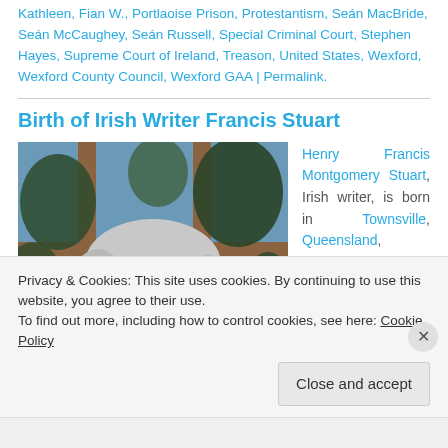Kathleen, Fian W., Portlaoise Prison, Protestantism, Seán MacBride, Seán McCaughey, Seán Russell, Special Criminal Court, Stephen Hayes, Supreme Court of Ireland, Treason, United States, Wexford, Wexford County Council, Wexford GAA | Permalink.
Birth of Irish Writer Francis Stuart
[Figure (illustration): Painted portrait illustration of an elderly man with white hair, looking through a wooden-framed window with foliage in the background.]
Henry Francis Montgomery Stuart, Irish writer, is born in Townsville, Queensland,
Privacy & Cookies: This site uses cookies. By continuing to use this website, you agree to their use.
To find out more, including how to control cookies, see here: Cookie Policy
Close and accept